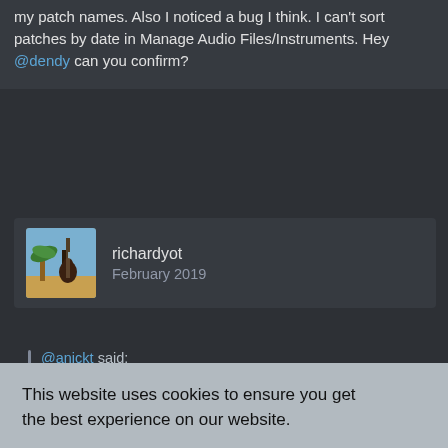my patch names. Also I noticed a bug I think. I can't sort patches by date in Manage Audio Files/Instruments. Hey @dendy can you confirm?
richardyot
February 2019
@anickt said:
This website uses cookies to ensure you get the best experience on our website.
Learn more
Got it!